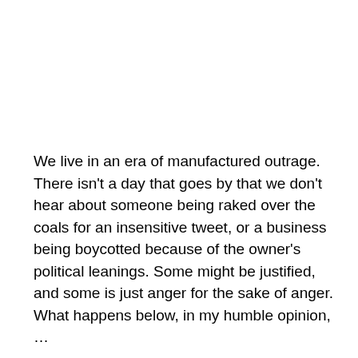We live in an era of manufactured outrage. There isn't a day that goes by that we don't hear about someone being raked over the coals for an insensitive tweet, or a business being boycotted because of the owner's political leanings. Some might be justified, and some is just anger for the sake of anger. What happens below, in my humble opinion, …